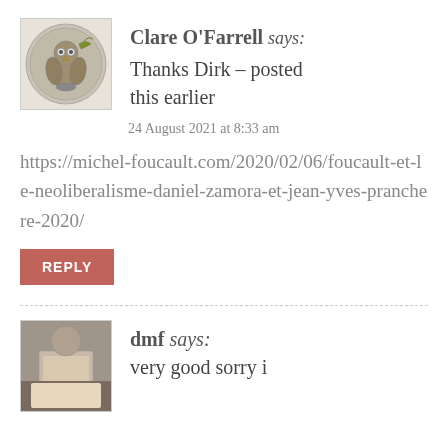[Figure (photo): Ancient Greek silver coin (tetradrachm) with owl motif, used as avatar for Clare O'Farrell]
Clare O'Farrell says:
Thanks Dirk – posted this earlier
24 August 2021 at 8:33 am
https://michel-foucault.com/2020/02/06/foucault-et-le-neoliberalisme-daniel-zamora-et-jean-yves-pranchere-2020/
REPLY
[Figure (photo): Small avatar photo for user dmf, dark/blurry image]
dmf says:
very good sorry i